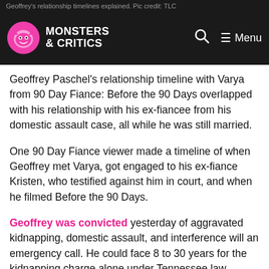Geoffrey's relationship timelines explained. Pic credit: TLC
Geoffrey Paschel's relationship timeline with Varya from 90 Day Fiance: Before the 90 Days overlapped with his relationship with his ex-fiancee from his domestic assault case, all while he was still married.
One 90 Day Fiance viewer made a timeline of when Geoffrey met Varya, got engaged to his ex-fiance Kristen, who testified against him in court, and when he filmed Before the 90 Days.
Geoffrey was convicted yesterday of aggravated kidnapping, domestic assault, and interference will an emergency call. He could face 8 to 30 years for the kidnapping charge alone under Tennessee law.